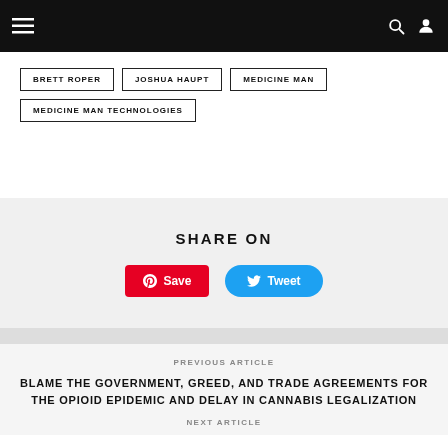Navigation bar with menu, search, and user icons
BRETT ROPER
JOSHUA HAUPT
MEDICINE MAN
MEDICINE MAN TECHNOLOGIES
SHARE ON
Pinterest Save button and Twitter Tweet button
PREVIOUS ARTICLE
BLAME THE GOVERNMENT, GREED, AND TRADE AGREEMENTS FOR THE OPIOID EPIDEMIC AND DELAY IN CANNABIS LEGALIZATION
NEXT ARTICLE